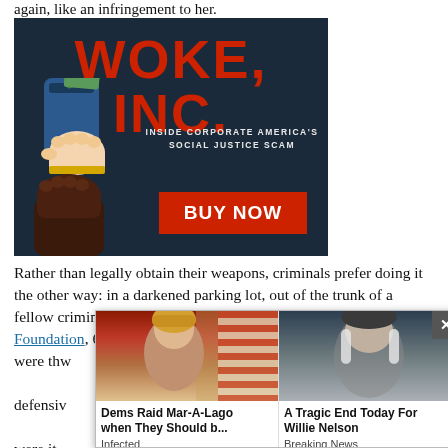again, like an infringement to her.
[Figure (illustration): Advertisement for 'Woke, Inc. Inside Corporate America's Social Justice Scam' book with a BUY NOW button on dark blue background with illustrated fists holding money]
Rather than legally obtain their weapons, criminals prefer doing it the other way: in a darkened parking lot, out of the trunk of a fellow criminal's car.  Meanwhile, according to the Heritage Foundation, 650 criminal acts were thw... nd defensive... were it not for th... ution would be... ven the
[Figure (screenshot): Popup overlay with two news thumbnails: 'Dems Raid Mar-A-Lago when They Should b...' tagged Infected, and 'A Tragic End Today For Willie Nelson' tagged Breaking News, with a close X button]